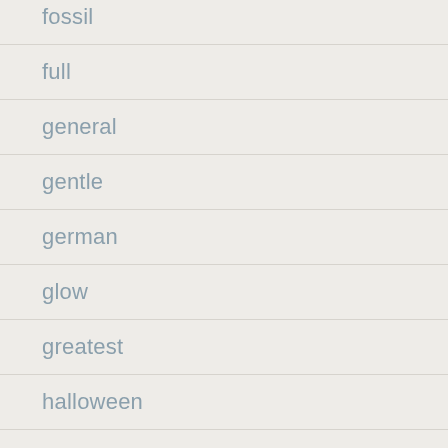fossil
full
general
gentle
german
glow
greatest
halloween
hand
hammered